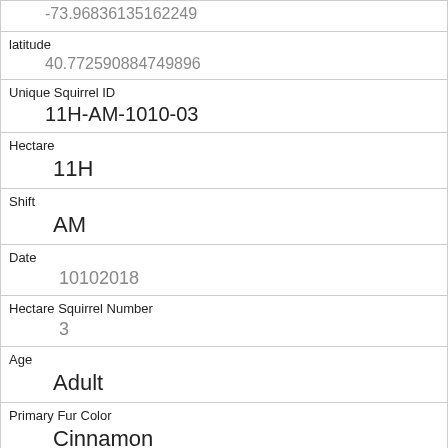| Field | Value |
| --- | --- |
| longitude (partial) | -73.96836135162249 |
| latitude | 40.772590884749896 |
| Unique Squirrel ID | 11H-AM-1010-03 |
| Hectare | 11H |
| Shift | AM |
| Date | 10102018 |
| Hectare Squirrel Number | 3 |
| Age | Adult |
| Primary Fur Color | Cinnamon |
| Highlight Fur Color | White |
| Combination of Primary and Highlight Color |  |